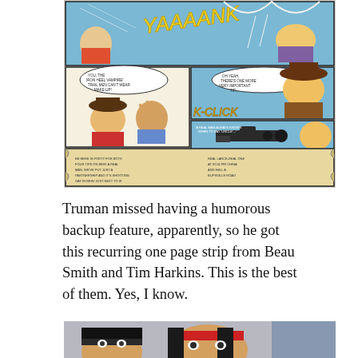[Figure (illustration): A scanned comic book page showing a humorous Western-themed comic strip with cartoon characters. The top panel shows characters with 'YAAAANK' text. Middle panels show a cowboy character and a Native American character with 'K-CLICK' sound effect and a revolver. Bottom panel has a scroll with text. Colorful comic art style with blue backgrounds.]
Truman missed having a humorous backup feature, apparently, so he got this recurring one page strip from Beau Smith and Tim Harkins. This is the best of them. Yes, I know.
[Figure (illustration): Bottom portion of another comic page showing cartoon character faces — a dark-haired character on the left and a character with a red headband in the center, with a blue/grey background.]